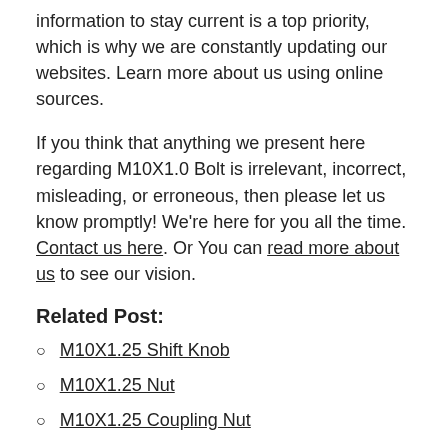information to stay current is a top priority, which is why we are constantly updating our websites. Learn more about us using online sources.
If you think that anything we present here regarding M10X1.0 Bolt is irrelevant, incorrect, misleading, or erroneous, then please let us know promptly! We're here for you all the time. Contact us here. Or You can read more about us to see our vision.
Related Post:
M10X1.25 Shift Knob
M10X1.25 Nut
M10X1.25 Coupling Nut
M10X1.5 Stud
Ak 47 Bolt On Vertical Charging Handle
Ar 15 Bolt Carrier Charging Tool